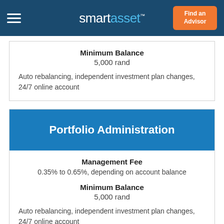smartasset™ | Find an Advisor
| Minimum Balance | Features |
| --- | --- |
| 5,000 rand | Auto rebalancing, independent investment plan changes, 24/7 online account |
Portfolio Administration
| Management Fee | Minimum Balance | Features |
| --- | --- | --- |
| 0.35% to 0.65%, depending on account balance | 5,000 rand | Auto rebalancing, independent investment plan changes, 24/7 online account |